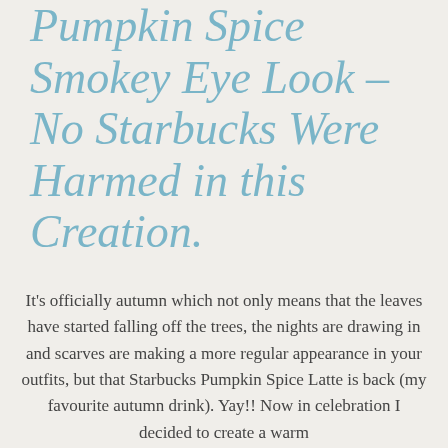Pumpkin Spice Smokey Eye Look – No Starbucks Were Harmed in this Creation.
It's officially autumn which not only means that the leaves have started falling off the trees, the nights are drawing in and scarves are making a more regular appearance in your outfits, but that Starbucks Pumpkin Spice Latte is back (my favourite autumn drink). Yay!! Now in celebration I decided to create a warm